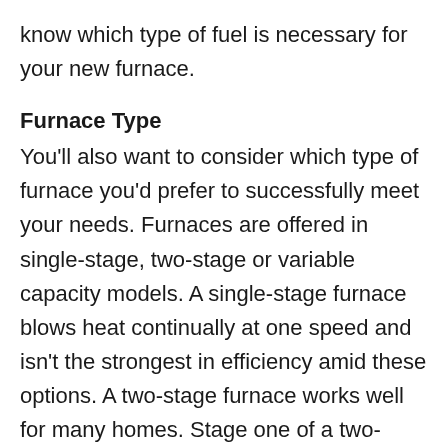know which type of fuel is necessary for your new furnace.
Furnace Type
You'll also want to consider which type of furnace you'd prefer to successfully meet your needs. Furnaces are offered in single-stage, two-stage or variable capacity models. A single-stage furnace blows heat continually at one speed and isn't the strongest in efficiency amid these options. A two-stage furnace works well for many homes. Stage one of a two-stage furnace runs at about 65 percent of its capacity, and stage two will kick in for a heating increase on the chilly Kutztown days. But if you want to go for the best choice in flexibility and efficiency, a variable capacity furnace may be an ideal solution.
Unlike single- and two-stage models, variable capacity